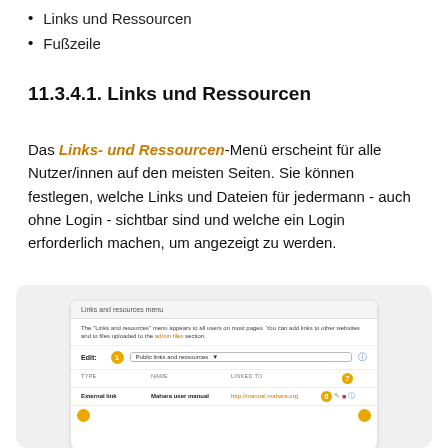Links und Ressourcen
Fußzeile
11.3.4.1. Links und Ressourcen
Das Links- und Ressourcen-Menü erscheint für alle Nutzer/innen auf den meisten Seiten. Sie können festlegen, welche Links und Dateien für jedermann - auch ohne Login - sichtbar sind und welche ein Login erforderlich machen, um angezeigt zu werden.
[Figure (screenshot): Screenshot of the 'Links and resources menu' admin interface in Mahara, showing a table with columns TYPE, NAME, LINKED TO, with an entry for External link 'Mahara user manual' linked to http://manual.mahara.org. Numbered badges 1, 6, 7 are visible.]